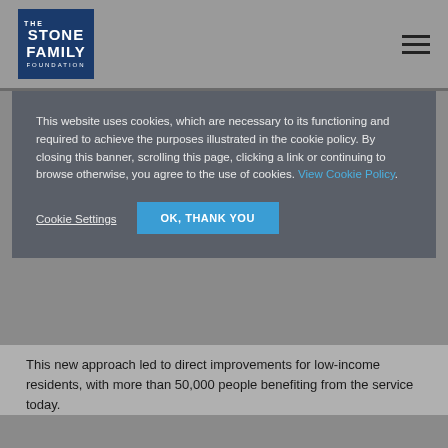[Figure (logo): The Stone Family Foundation logo — dark navy blue rectangle with white text]
This website uses cookies, which are necessary to its functioning and required to achieve the purposes illustrated in the cookie policy. By closing this banner, scrolling this page, clicking a link or continuing to browse otherwise, you agree to the use of cookies. View Cookie Policy.
Cookie Settings
OK, THANK YOU
This new approach led to direct improvements for low-income residents, with more than 50,000 people benefiting from the service today.